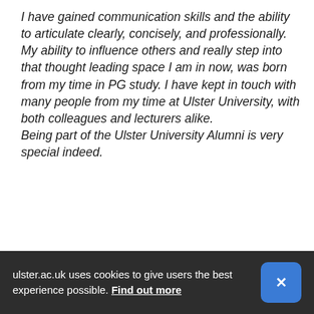I have gained communication skills and the ability to articulate clearly, concisely, and professionally. My ability to influence others and really step into that thought leading space I am in now, was born from my time in PG study. I have kept in touch with many people from my time at Ulster University, with both colleagues and lecturers alike. Being part of the Ulster University Alumni is very special indeed.
ulster.ac.uk uses cookies to give users the best experience possible. Find out more